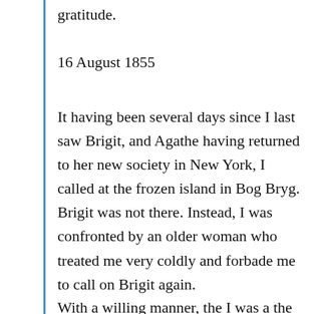gratitude.
16 August 1855
It having been several days since I last saw Brigit, and Agathe having returned to her new society in New York, I called at the frozen island in Bog Bryg. Brigit was not there. Instead, I was confronted by an older woman who treated me very coldly and forbade me to call on Brigit again.
With a willing manner, the I was a the